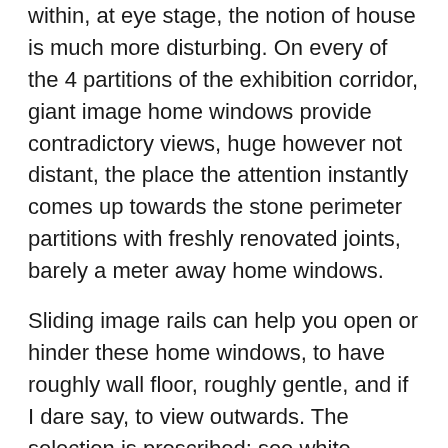within, at eye stage, the notion of house is much more disturbing. On every of the 4 partitions of the exhibition corridor, giant image home windows provide contradictory views, huge however not distant, the place the attention instantly comes up towards the stone perimeter partitions with freshly renovated joints, barely a meter away home windows.
Sliding image rails can help you open or hinder these home windows, to have roughly wall floor, roughly gentle, and if I dare say, to view outwards. The selection is proscribed: see white partitions or see stone partitions. What did the architect liable for designing the renovation wish to do? And why did you impose, for your complete future lifetime of the artwork heart, this option to open or shut these blocked home windows? Bear in mind historical past, in fact, however what place for the current?
For the exhibition I'm getting ready, guests will be capable